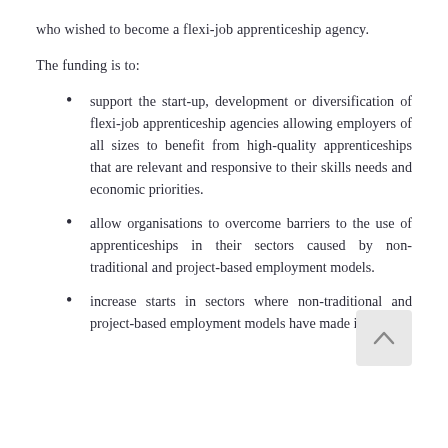who wished to become a flexi-job apprenticeship agency.
The funding is to:
support the start-up, development or diversification of flexi-job apprenticeship agencies allowing employers of all sizes to benefit from high-quality apprenticeships that are relevant and responsive to their skills needs and economic priorities.
allow organisations to overcome barriers to the use of apprenticeships in their sectors caused by non-traditional and project-based employment models.
increase starts in sectors where non-traditional and project-based employment models have made it